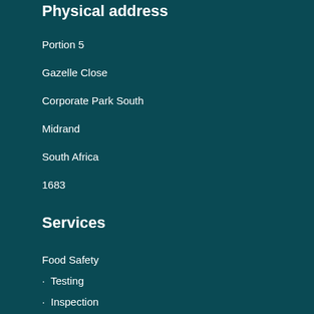Physical address
Portion 5
Gazelle Close
Corporate Park South
Midrand
South Africa
1683
Services
Food Safety
• Testing
• Inspection
• Certification
• Training
Occupational Health and Safety
Helpful links